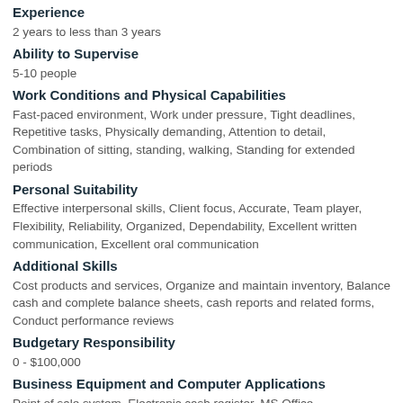Experience
2 years to less than 3 years
Ability to Supervise
5-10 people
Work Conditions and Physical Capabilities
Fast-paced environment, Work under pressure, Tight deadlines, Repetitive tasks, Physically demanding, Attention to detail, Combination of sitting, standing, walking, Standing for extended periods
Personal Suitability
Effective interpersonal skills, Client focus, Accurate, Team player, Flexibility, Reliability, Organized, Dependability, Excellent written communication, Excellent oral communication
Additional Skills
Cost products and services, Organize and maintain inventory, Balance cash and complete balance sheets, cash reports and related forms, Conduct performance reviews
Budgetary Responsibility
0 - $100,000
Business Equipment and Computer Applications
Point of sale system, Electronic cash register, MS Office